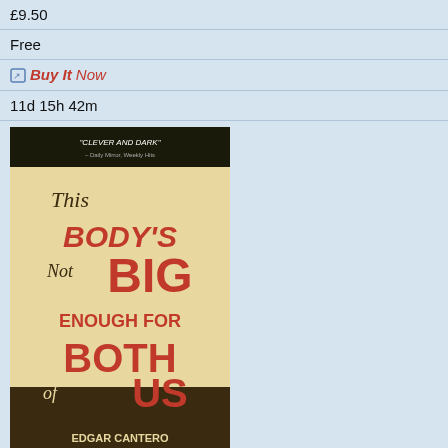£9.50
Free
[Figure (logo): Buy It Now button with icon]
11d 15h 42m
[Figure (photo): Book cover: This Body's Not Big Enough For Both Of Us by Edgar Cantero]
Edgar Cantero This Body's Not Big Enough For Both Of Us Book New
£8.41
Free
[Figure (logo): Buy It Now button with icon]
11d 15h 59m
[Figure (photo): Two portrait thumbnails partially visible at bottom]